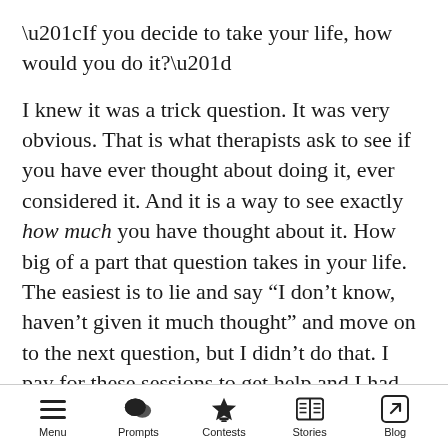“If you decide to take your life, how would you do it?”
I knew it was a trick question. It was very obvious. That is what therapists ask to see if you have ever thought about doing it, ever considered it. And it is a way to see exactly how much you have thought about it. How big of a part that question takes in your life. The easiest is to lie and say “I don’t know, haven’t given it much thought” and move on to the next question, but I didn’t do that. I pay for these sessions to get help and I had promised myself that no matter what, I would tell them the truth
Menu  Prompts  Contests  Stories  Blog